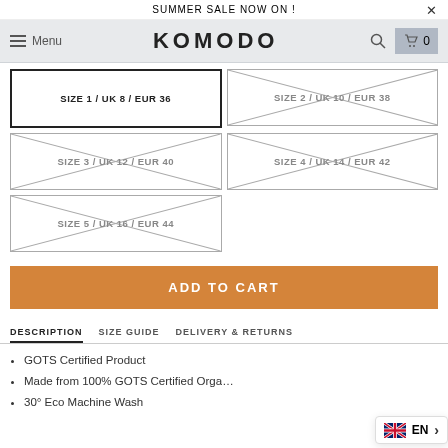SUMMER SALE NOW ON !
KOMODO
SIZE 1 / UK 8 / EUR 36 (selected)
SIZE 2 / UK 10 / EUR 38 (unavailable)
SIZE 3 / UK 12 / EUR 40 (unavailable)
SIZE 4 / UK 14 / EUR 42 (unavailable)
SIZE 5 / UK 16 / EUR 44 (unavailable)
ADD TO CART
DESCRIPTION | SIZE GUIDE | DELIVERY & RETURNS
GOTS Certified Product
Made from 100% GOTS Certified Orga...
30° Eco Machine Wash